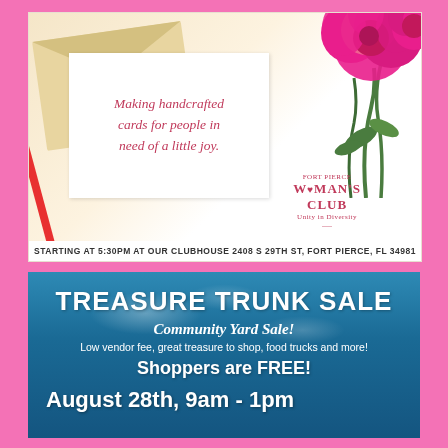[Figure (illustration): Woman's Club flyer showing a handcrafted card with the text 'Making handcrafted cards for people in need of a little joy.' on a white notecard, with an envelope, red pencil, pink peonies, and Fort Pierce Woman's Club logo. Address at bottom: STARTING AT 5:30PM AT OUR CLUBHOUSE 2408 S 29TH ST, FORT PIERCE, FL 34981]
[Figure (illustration): Treasure Trunk Sale community yard sale flyer with teal/blue cloudy sky background. Text: TREASURE TRUNK SALE, Community Yard Sale!, Low vendor fee, great treasure to shop, food trucks and more!, Shoppers are FREE!, August 28th, 9am - 1pm]